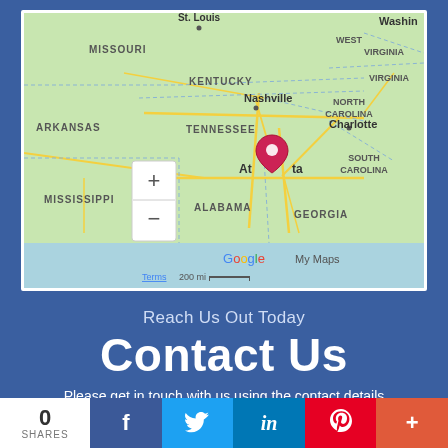[Figure (map): Google My Maps screenshot showing southeastern United States with a location pin on Atlanta, Georgia. States visible include Missouri, Arkansas, Mississippi, Alabama, Tennessee, Kentucky, Georgia, North Carolina, South Carolina, Virginia, West Virginia. Cities labeled include St. Louis, Nashville, Charlotte. Map includes zoom controls (+/-) and scale bar showing 200 mi. Google My Maps branding visible.]
Reach Us Out Today
Contact Us
Please get in touch with us using the contact details herein.
0 SHARES